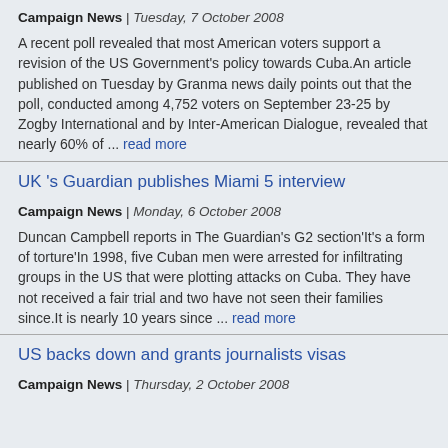Campaign News | Tuesday, 7 October 2008
A recent poll revealed that most American voters support a revision of the US Government's policy towards Cuba.An article published on Tuesday by Granma news daily points out that the poll, conducted among 4,752 voters on September 23-25 by Zogby International and by Inter-American Dialogue, revealed that nearly 60% of ... read more
UK 's Guardian publishes Miami 5 interview
Campaign News | Monday, 6 October 2008
Duncan Campbell reports in The Guardian's G2 section'It's a form of torture'In 1998, five Cuban men were arrested for infiltrating groups in the US that were plotting attacks on Cuba. They have not received a fair trial and two have not seen their families since.It is nearly 10 years since ... read more
US backs down and grants journalists visas
Campaign News | Thursday, 2 October 2008